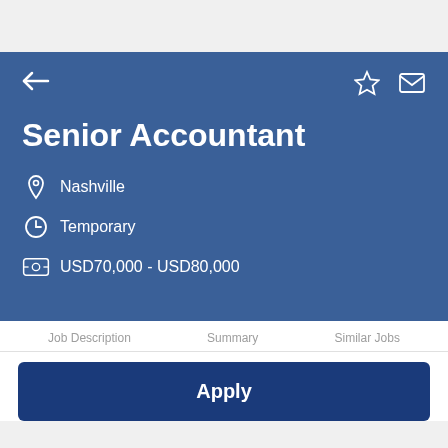Senior Accountant
Nashville
Temporary
USD70,000 - USD80,000
Job Description    Summary    Similar Jobs
Apply